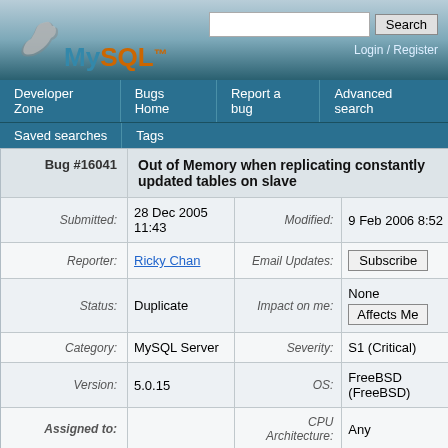[Figure (logo): MySQL logo with dolphin icon and orange/blue text]
| Field | Label | Value |
| --- | --- | --- |
| Bug #16041 | Title | Out of Memory when replicating constantly updated tables on slave |
| Submitted |  | 28 Dec 2005 11:43 |
| Modified |  | 9 Feb 2006 8:52 |
| Reporter |  | Ricky Chan |
| Email Updates |  | Subscribe |
| Status |  | Duplicate |
| Impact on me |  | None / Affects Me |
| Category |  | MySQL Server |
| Severity |  | S1 (Critical) |
| Version |  | 5.0.15 |
| OS |  | FreeBSD (FreeBSD) |
| Assigned to |  |  |
| CPU Architecture |  | Any |
View
Add Comment
Files
Developer
Edit Submission
View Progress Log
Contributions
[28 Dec 2005 11:43] Ricky Chan